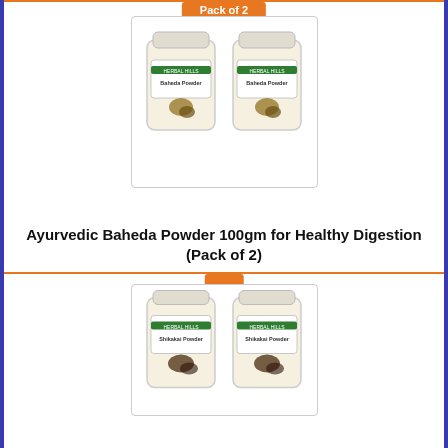[Figure (photo): Two Herbal Hills Baheda Powder jars (Pack of 2), with orange label tab at top]
Ayurvedic Baheda Powder 100gm for Healthy Digestion (Pack of 2)
[Figure (photo): Two Herbal Hills Shikakai Powder jars (Pack of 2), with orange label tab at top]
Ayurvedic Shikakai Powder For Healthy Hair
Send Inquiry
[Figure (photo): A bag of herbal powder product (Lodhara brand), partially visible at bottom]